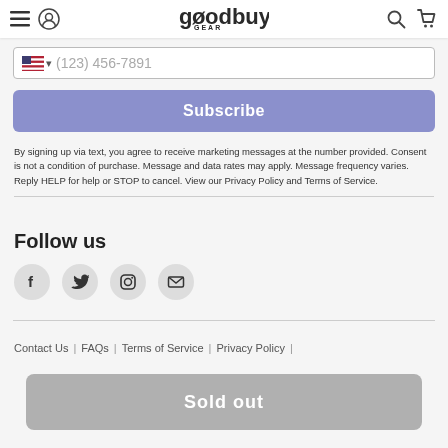goodbuy gear — navigation bar with menu, user, search, cart icons
(123) 456-7891
Subscribe
By signing up via text, you agree to receive marketing messages at the number provided. Consent is not a condition of purchase. Message and data rates may apply. Message frequency varies. Reply HELP for help or STOP to cancel. View our Privacy Policy and Terms of Service.
Follow us
[Figure (infographic): Social media icon buttons: Facebook, Twitter, Instagram, Email — round grey circles]
Contact Us | FAQs | Terms of Service | Privacy Policy |
Sold out